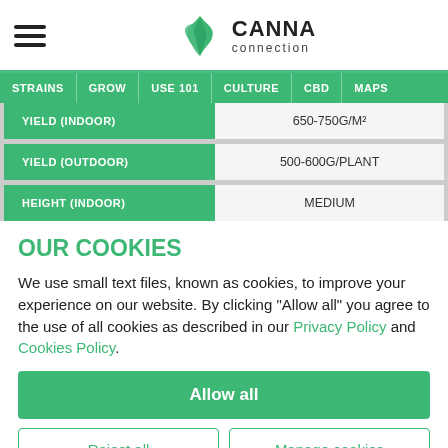CANNA connection
| Label | Value |
| --- | --- |
| YIELD (INDOOR) | 650-750G/M² |
| YIELD (OUTDOOR) | 500-600G/PLANT |
| HEIGHT (INDOOR) | MEDIUM |
OUR COOKIES
We use small text files, known as cookies, to improve your experience on our website. By clicking "Allow all" you agree to the use of all cookies as described in our Privacy Policy and Cookies Policy.
Allow all
Reject all
Manage cookies